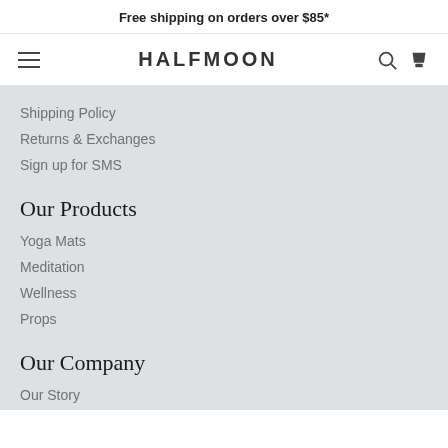Free shipping on orders over $85*
HALFMOON
Shipping Policy
Returns & Exchanges
Sign up for SMS
Our Products
Yoga Mats
Meditation
Wellness
Props
Our Company
Our Story
Our DEI Action Plan
Careers